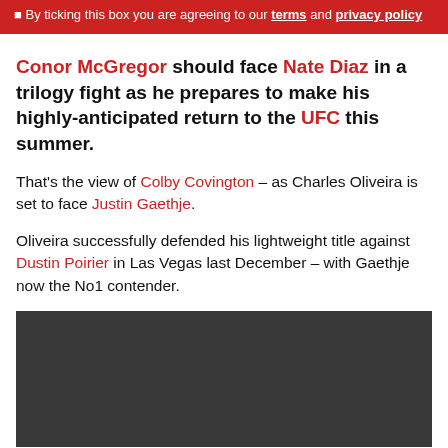By ticking this box you are agreeing to our terms and privacy policy
Conor McGregor should face Nate Diaz in a trilogy fight as he prepares to make his highly-anticipated return to the UFC this summer.
That's the view of Colby Covington – as Charles Oliveira is set to face Justin Gaethje.
Oliveira successfully defended his lightweight title against Dustin Poirier in Las Vegas last December – with Gaethje now the No1 contender.
[Figure (photo): Dark/black image placeholder area]